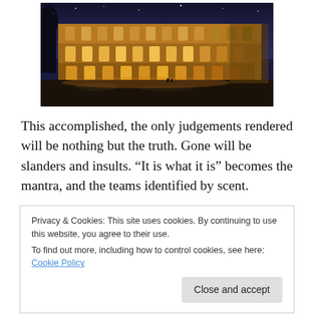[Figure (photo): Nighttime photo of the Colosseum in Rome, illuminated with warm golden light against a dark blue sky.]
This accomplished, the only judgements rendered will be nothing but the truth. Gone will be slanders and insults. “It is what it is” becomes the mantra, and the teams identified by scent.
Privacy & Cookies: This site uses cookies. By continuing to use this website, you agree to their use.
To find out more, including how to control cookies, see here: Cookie Policy
[Close and accept]